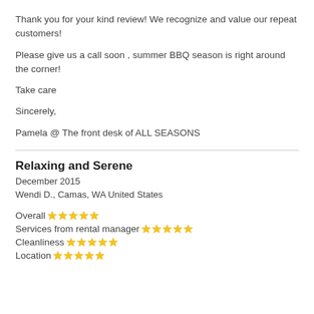Thank you for your kind review! We recognize and value our repeat customers!
Please give us a call soon , summer BBQ season is right around the corner!
Take care
Sincerely,
Pamela @ The front desk of ALL SEASONS
Relaxing and Serene
December 2015
Wendi D., Camas, WA United States
Overall ★★★★★
Services from rental manager ★★★★★
Cleanliness ★★★★★
Location ★★★★★